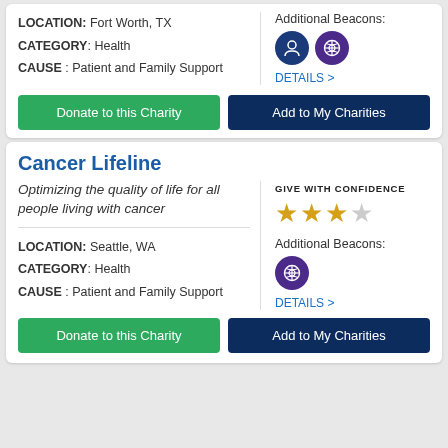LOCATION: Fort Worth, TX
CATEGORY: Health
CAUSE : Patient and Family Support
Additional Beacons:
DETAILS >
Donate to this Charity
Add to My Charities
Cancer Lifeline
Optimizing the quality of life for all people living with cancer
GIVE WITH CONFIDENCE
Additional Beacons:
DETAILS >
LOCATION: Seattle, WA
CATEGORY: Health
CAUSE : Patient and Family Support
Donate to this Charity
Add to My Charities